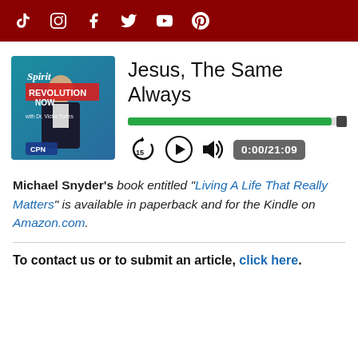Social media icons: TikTok, Instagram, Facebook, Twitter, YouTube, Pinterest
[Figure (illustration): Spirit Revolution Now with Dr. Victor Torres podcast cover art — teal/blue background with man in suit, logo and CPN text]
Jesus, The Same Always
[Figure (other): Audio player with green progress bar nearly full, replay-15 button, play button, volume icon, and time display showing 0:00/21:09]
Michael Snyder's book entitled "Living A Life That Really Matters" is available in paperback and for the Kindle on Amazon.com.
To contact us or to submit an article, click here.